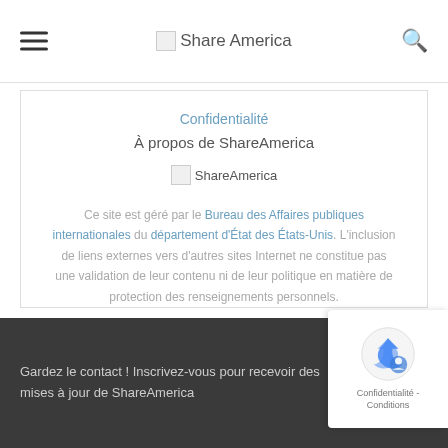Share America
Confidentialité
À propos de ShareAmerica
[Figure (logo): ShareAmerica logo placeholder image]
Ce site est géré par le Bureau des Affaires publiques internationales du département d'État des États-Unis. L'inclusion de liens externes vers d'autres sites Internet ne constitue pas une validation de leur contenu ni de leur politique en matière de protection des renseignements personnels.
Gardez le contact ! Inscrivez-vous pour recevoir des mises à jour de ShareAmerica
[Figure (logo): reCAPTCHA badge with Confidentialité - Conditions text]